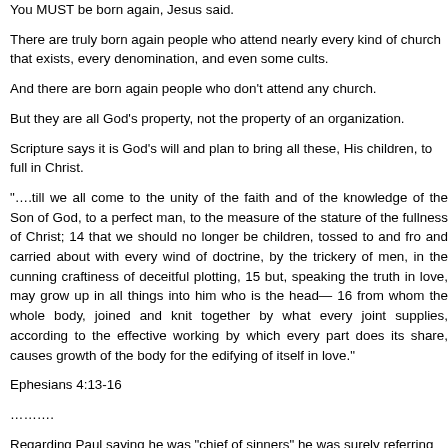You MUST be born again, Jesus said.
There are truly born again people who attend nearly every kind of church that exists, every denomination, and even some cults.
And there are born again people who don't attend any church.
But they are all God's property, not the property of an organization.
Scripture says it is God's will and plan to bring all these, His children, to fullness in Christ.
“....till we all come to the unity of the faith and of the knowledge of the Son of God, to a perfect man, to the measure of the stature of the fullness of Christ; 14 that we should no longer be children, tossed to and fro and carried about with every wind of doctrine, by the trickery of men, in the cunning craftiness of deceitful plotting, 15 but, speaking the truth in love, may grow up in all things into him who is the head—Christ— 16 from whom the whole body, joined and knit together by what every joint supplies, according to the effective working by which every part does its share, causes growth of the body for the edifying of itself in love.”
Ephesians 4:13-16
..........
Regarding Paul saying he was “chief of sinners” he was surely referring to his past and not present, for how could he continue to be sinning more than anyone else in the church? If he was still the greatest sinner in practice he would be a hypocrite to teach others.